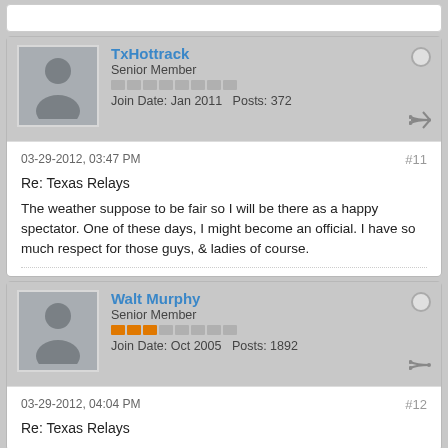TxHottrack - Senior Member - Join Date: Jan 2011 - Posts: 372
03-29-2012, 03:47 PM  #11
Re: Texas Relays
The weather suppose to be fair so I will be there as a happy spectator. One of these days, I might become an official. I have so much respect for those guys, & ladies of course.
Walt Murphy - Senior Member - Join Date: Oct 2005 - Posts: 1892
03-29-2012, 04:04 PM  #12
Re: Texas Relays